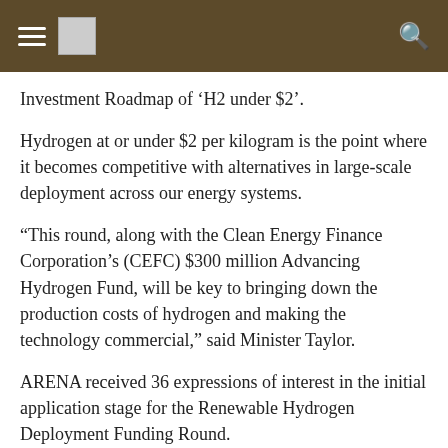[Navigation bar with hamburger menu, logo, and search icon]
Investment Roadmap of 'H2 under $2'.
Hydrogen at or under $2 per kilogram is the point where it becomes competitive with alternatives in large-scale deployment across our energy systems.
“This round, along with the Clean Energy Finance Corporation’s (CEFC) $300 million Advancing Hydrogen Fund, will be key to bringing down the production costs of hydrogen and making the technology commercial,” said Minister Taylor.
ARENA received 36 expressions of interest in the initial application stage for the Renewable Hydrogen Deployment Funding Round.
The seven projects shortlisted are invited to submit a full